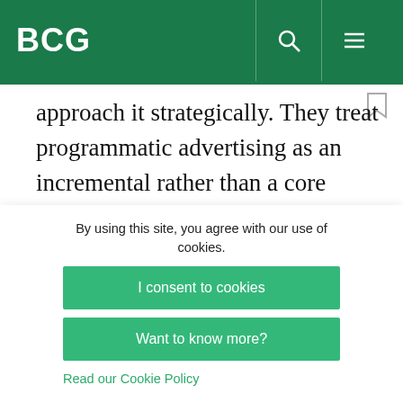BCG
approach it strategically. They treat programmatic advertising as an incremental rather than a core source of sales, and they leave increasing amounts of revenue on the table as a result. Another reason is that they do not organize themselves to realize the maximum value from their programmatic
By using this site, you agree with our use of cookies.
I consent to cookies
Want to know more?
Read our Cookie Policy